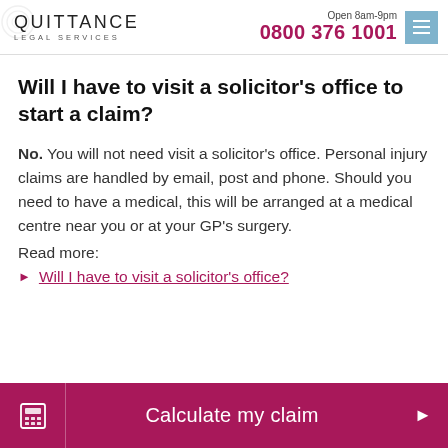Quittance Legal Services | Open 8am-9pm | 0800 376 1001
Will I have to visit a solicitor's office to start a claim?
No. You will not need visit a solicitor's office. Personal injury claims are handled by email, post and phone. Should you need to have a medical, this will be arranged at a medical centre near you or at your GP's surgery.
Read more:
Will I have to visit a solicitor's office?
Calculate my claim